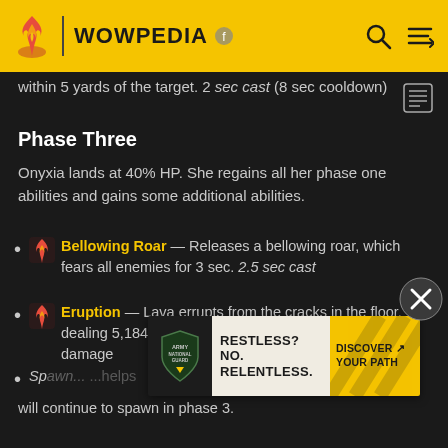WOWPEDIA
within 5 yards of the target. 2 sec cast (8 sec cooldown)
Phase Three
Onyxia lands at 40% HP. She regains all her phase one abilities and gains some additional abilities.
Bellowing Roar — Releases a bellowing roar, which fears all enemies for 3 sec. 2.5 sec cast
Eruption — Lava errupts from the cracks in the floor, dealing 5,184 to 5,816 (25: 7,069 to 7,931) Fire damage
Spawn... ...helps will continue to spawn in phase 3.
[Figure (infographic): Army National Guard advertisement: RESTLESS? NO. RELENTLESS. DISCOVER YOUR PATH]